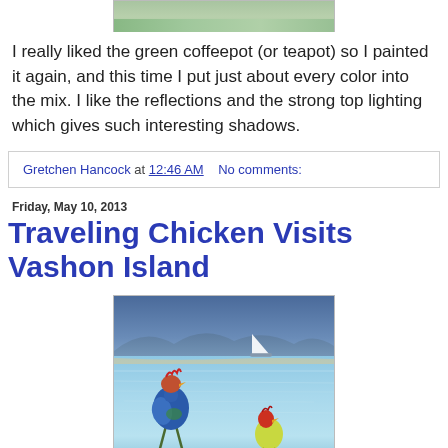[Figure (photo): Bottom portion of a painting showing a green/teal background, partial view of artwork, with artist signature 'Hancock' in lower right]
I really liked the green coffeepot (or teapot) so I painted it again, and this time I put just about every color into the mix. I like the reflections and the strong top lighting which gives such interesting shadows.
Gretchen Hancock at 12:46 AM    No comments:
Friday, May 10, 2013
Traveling Chicken Visits Vashon Island
[Figure (photo): Painting of two stylized chickens standing at the edge of water looking at a sailboat on the sea, with blue water and distant mountains in the background. One tall blue chicken on stilts and a smaller red/yellow chicken beside it.]